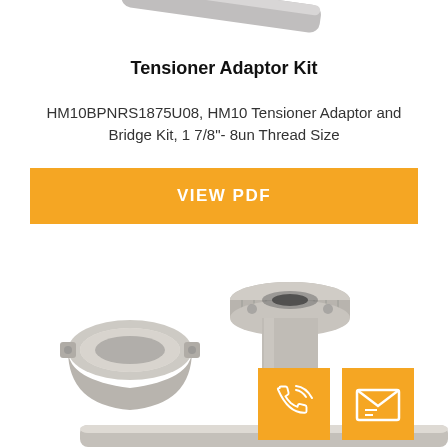[Figure (photo): Partial view of a metal rod/bolt visible at the top of the page]
Tensioner Adaptor Kit
HM10BPNRS1875U08, HM10 Tensioner Adaptor and Bridge Kit, 1 7/8"- 8un Thread Size
VIEW PDF
[Figure (photo): Metal tensioner adaptor kit components: a cylindrical adaptor with flange on top, a ring/bridge piece, and a partial rod visible at the bottom. Two orange icon buttons (phone and mail) in the lower right corner.]